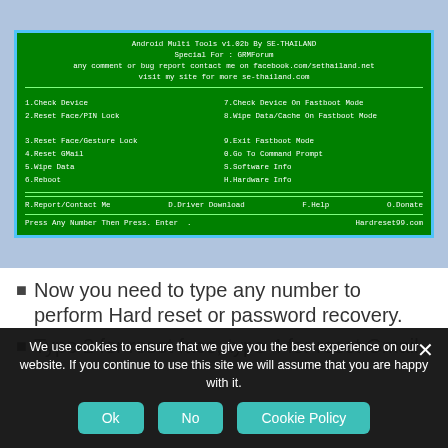[Figure (screenshot): Terminal/CLI screenshot of Android Multi Tools v1.02b by SE-THAILAND. Green background with white monospace text. Shows menu options: 1.Check Device, 2.Reset Face/PIN Lock, 3.Reset Face/Gesture Lock, 4.Reset GMail, 5.Wipe Data, 6.Reboot, 7.Check Device On Fastboot Mode, 8.Wipe Data/Cache On Fastboot Mode, 9.Exit Fastboot Mode, 0.Go To Command Prompt, S.Software Info, H.Hardware Info, R.Report/Contact Me, D.Driver Download, F.Help, O.Donate. Footer: Press Any Number Then Press. Enter . Hardreset99.com]
Now you need to type any number to perform Hard reset or password recovery.
Type 2 for reset face, type 4 for reset Gmail
We use cookies to ensure that we give you the best experience on our website. If you continue to use this site we will assume that you are happy with it.